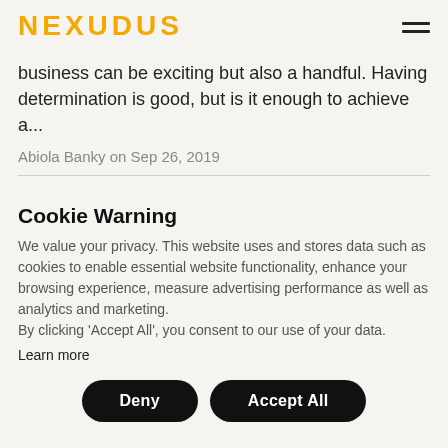NEXUDUS
business can be exciting but also a handful. Having determination is good, but is it enough to achieve a...
Abiola Banky on Sep 26, 2019
Cookie Warning
We value your privacy. This website uses and stores data such as cookies to enable essential website functionality, enhance your browsing experience, measure advertising performance as well as analytics and marketing.
By clicking 'Accept All', you consent to our use of your data.
Learn more
Deny
Accept All